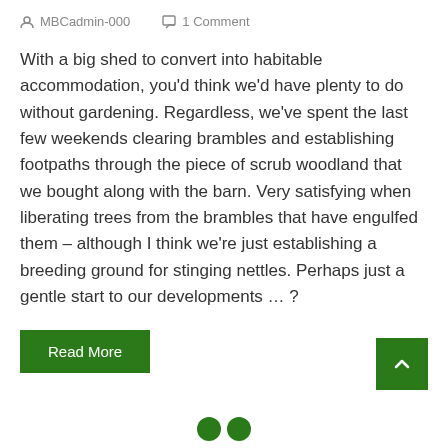MBCadmin-000   1 Comment
With a big shed to convert into habitable accommodation, you'd think we'd have plenty to do without gardening. Regardless, we've spent the last few weekends clearing brambles and establishing footpaths through the piece of scrub woodland that we bought along with the barn. Very satisfying when liberating trees from the brambles that have engulfed them – although I think we're just establishing a breeding ground for stinging nettles. Perhaps just a gentle start to our developments … ?
Read More